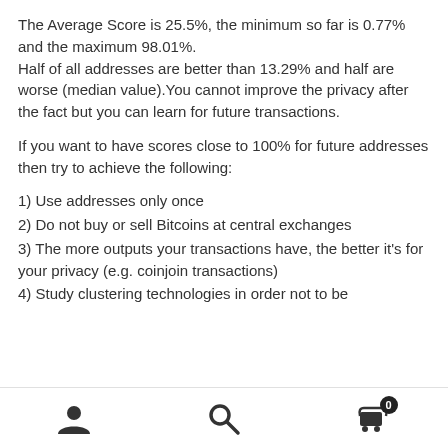The Average Score is 25.5%, the minimum so far is 0.77% and the maximum 98.01%. Half of all addresses are better than 13.29% and half are worse (median value).You cannot improve the privacy after the fact but you can learn for future transactions.
If you want to have scores close to 100% for future addresses then try to achieve the following:
1) Use addresses only once
2) Do not buy or sell Bitcoins at central exchanges
3) The more outputs your transactions have, the better it's for your privacy (e.g. coinjoin transactions)
4) Study clustering technologies in order not to be
[user icon] [search icon] [cart icon with badge 0]